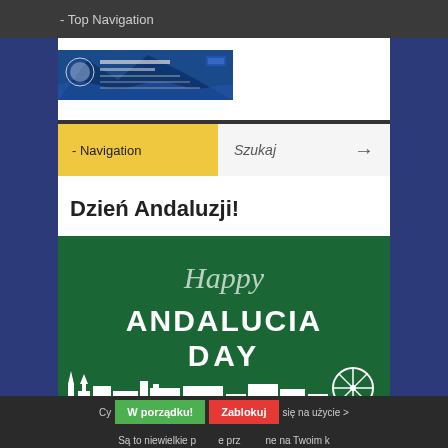- Top Navigation
[Figure (logo): Polish university/conference website logo banner with blue mountain imagery and institution text]
- Navigation    Szukaj →
Dzień Andaluzji!
[Figure (illustration): Green banner image with white script text 'Happy' and bold white text 'ANDALUCIA DAY' with white city skyline silhouette at the bottom]
W porządku!   Czy   Zablokuj   się na użycie  Są to niewielkie p         e prz         ne na Twoim k